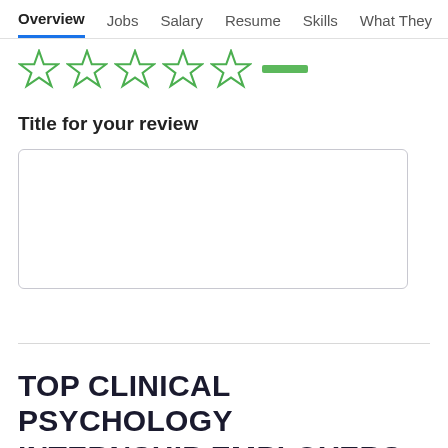Overview  Jobs  Salary  Resume  Skills  What They >
[Figure (other): Five star rating icons (outlined green stars) with a green bar indicator below the first star]
Title for your review
[Figure (other): Empty text input box for review title]
TOP CLINICAL PSYCHOLOGY INTERNSHIP EMPLOYERS